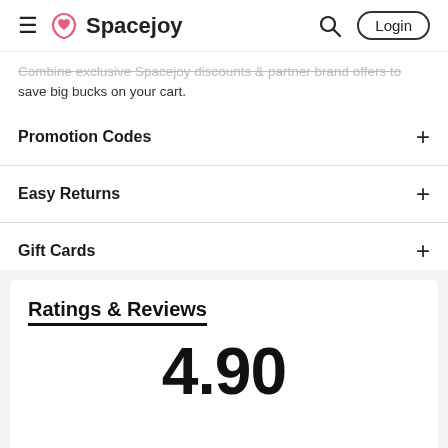≡ Spacejoy | Search | Login
Combine exclusive Spacejoy discounts & partner brand offers to save big bucks on your cart.
Promotion Codes
Easy Returns
Gift Cards
Ratings & Reviews
4.90